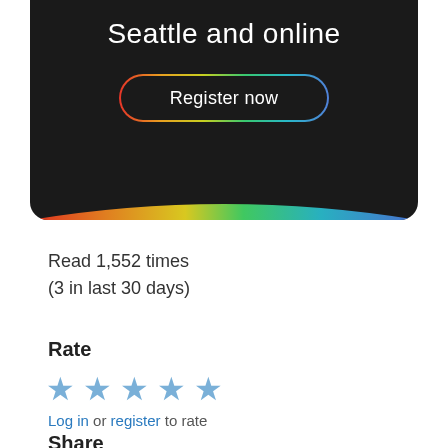[Figure (screenshot): Dark banner with 'Seattle and online' title and a multicolor-bordered 'Register now' button, with a rainbow gradient strip at the bottom]
Read 1,552 times
(3 in last 30 days)
Rate
[Figure (other): Five light blue star rating icons]
Log in or register to rate
Share